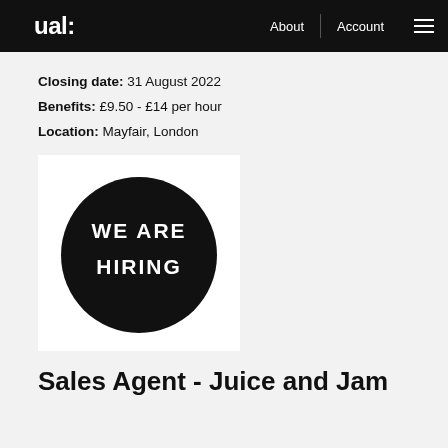ual: About Account ☰
Closing date: 31 August 2022
Benefits: £9.50 - £14 per hour
Location: Mayfair, London
[Figure (illustration): Black circle on white background with text 'WE ARE HIRING' in white letters]
Sales Agent - Juice and Jam